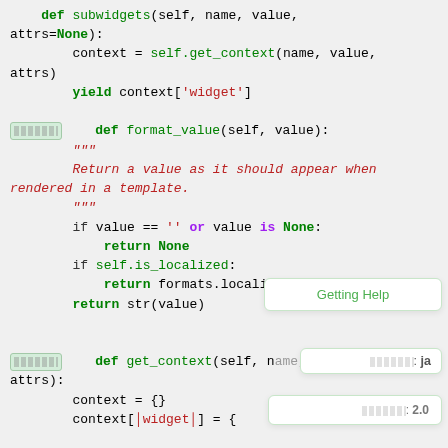[Figure (screenshot): Python source code snippet showing subwidgets and format_value methods with syntax highlighting, plus floating UI tooltip elements for 'Getting Help', language selector 'ja', and version '2.0']